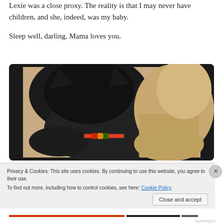Lexie was a close proxy. The reality is that I may never have children, and she, indeed, was my baby.
Sleep well, darling. Mama loves you.
[Figure (photo): A black dog or cat lying down, wearing a colorful collar, photographed on a dark laptop/tablet screen with a rounded-rectangle bezel.]
Privacy & Cookies: This site uses cookies. By continuing to use this website, you agree to their use.
To find out more, including how to control cookies, see here: Cookie Policy
Close and accept